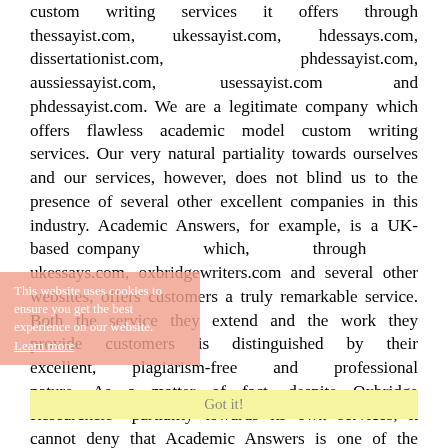custom writing services it offers through thessayist.com, ukessayist.com, hdessays.com, dissertationist.com, phdessayist.com, aussiessayist.com, usessayist.com and phdessayist.com. We are a legitimate company which offers flawless academic model custom writing services. Our very natural partiality towards ourselves and our services, however, does not blind us to the presence of several other excellent companies in this industry. Academic Answers, for example, is a UK-based company which, through ukessays.com, oxbridgewriters.com and several other websites, offers customers a truly remarkable service. Both the service they extend and the work they provide customers is distinguished by their excellent, plagiarism-free and professional nature. As a matter of fact, despite Oxbridge Researchers" partiality towards its own services, it cannot deny that Academic Answers is one of the industry's most important leaders.
This website uses cookies to ensure you get the best experience on our website. Learn more
Got it!
Some readers may assume that Oxbridge Researchers identified Academic Answers as a fully legitimate and excellent company because we share a nationality - British. This is not at all